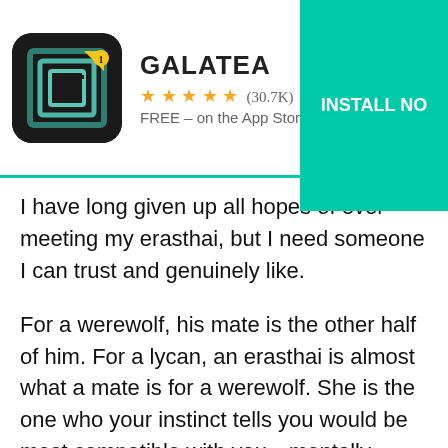[Figure (screenshot): Galatea app advertisement banner with app icon, star rating 4 stars (30.7K), FREE on the App Store, and INSTALL NOW button]
I have long given up all hopes of ever meeting my erasthai, but I need someone I can trust and genuinely like.
For a werewolf, his mate is the other half of him. For a lycan, an erasthai is almost what a mate is for a werewolf. She is the one who your instinct tells you would be most compatible with you—mentally, emotionally, and physically.
Your instinct tells you that, in time, this is the female that you could fall deeply in love with for the rest of your life—above all others. That is if you're